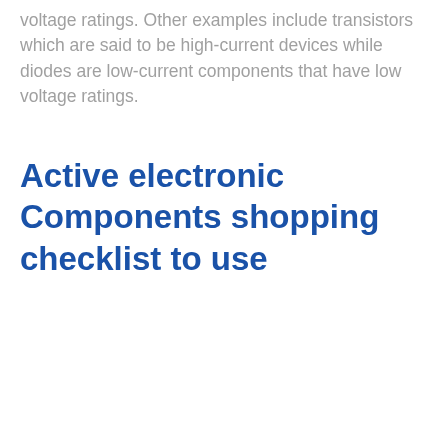voltage ratings. Other examples include transistors which are said to be high-current devices while diodes are low-current components that have low voltage ratings.
Active electronic Components shopping checklist to use